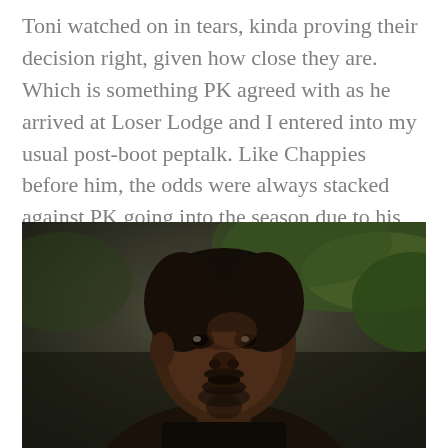Toni watched on in tears, kinda proving their decision right, given how close they are. Which is something PK agreed with as he arrived at Loser Lodge and I entered into my usual post-boot peptalk. Like Chappies before him, the odds were always stacked against PK going into the season due to his bonds and being a massive threat. Which seemed to be enough to cheer him up as we smashed a Pheko Phettata (but sadly only a Pheko Phettata).
[Figure (photo): Portrait photo of a young Black man with short hair, beard and mustache, wearing dark clothing, with green foliage in the background. The photo has a warm, natural lighting tone.]